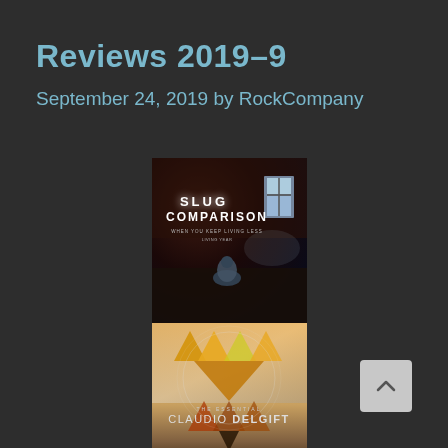Reviews 2019-9
September 24, 2019 by RockCompany
[Figure (photo): Album cover for 'Slug Comparison' — dark atmospheric image of a person kneeling in a dimly lit barn/room with a bright window. Text overlay reads 'SLUG COMPARISON' in bold white letters.]
[Figure (photo): Album cover for 'The Essential Claudio Delgift' — warm gradient background (orange/gold to silver) with geometric triangle shapes arranged in a circular pattern. Text reads 'THE ESSENTIAL CLAUDIO DELGIFT'.]